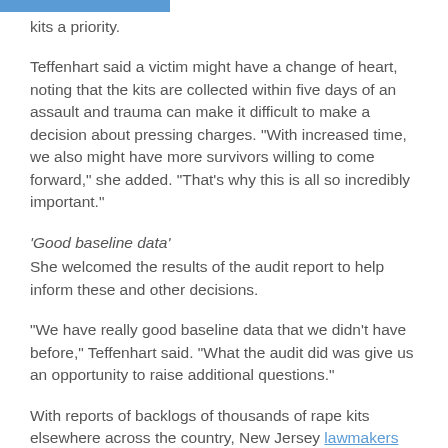kits a priority.
Teffenhart said a victim might have a change of heart, noting that the kits are collected within five days of an assault and trauma can make it difficult to make a decision about pressing charges. "With increased time, we also might have more survivors willing to come forward," she added. "That's why this is all so incredibly important."
'Good baseline data'
She welcomed the results of the audit report to help inform these and other decisions.
"We have really good baseline data that we didn't have before," Teffenhart said. "What the audit did was give us an opportunity to raise additional questions."
With reports of backlogs of thousands of rape kits elsewhere across the country, New Jersey lawmakers